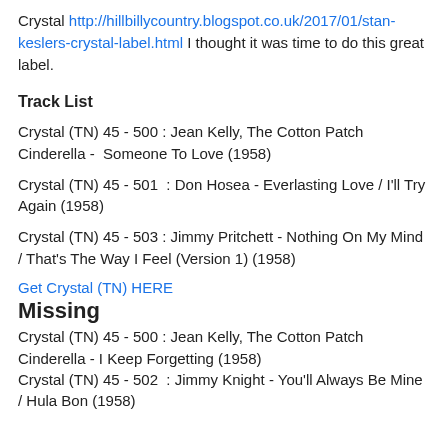Crystal http://hillbillycountry.blogspot.co.uk/2017/01/stan-keslers-crystal-label.html I thought it was time to do this great label.
Track List
Crystal (TN) 45 - 500 : Jean Kelly, The Cotton Patch Cinderella -  Someone To Love (1958)
Crystal (TN) 45 - 501  : Don Hosea - Everlasting Love / I'll Try Again (1958)
Crystal (TN) 45 - 503 : Jimmy Pritchett - Nothing On My Mind / That's The Way I Feel (Version 1) (1958)
Get Crystal (TN) HERE
Missing
Crystal (TN) 45 - 500 : Jean Kelly, The Cotton Patch Cinderella - I Keep Forgetting (1958)
Crystal (TN) 45 - 502  : Jimmy Knight - You'll Always Be Mine / Hula Bon (1958)